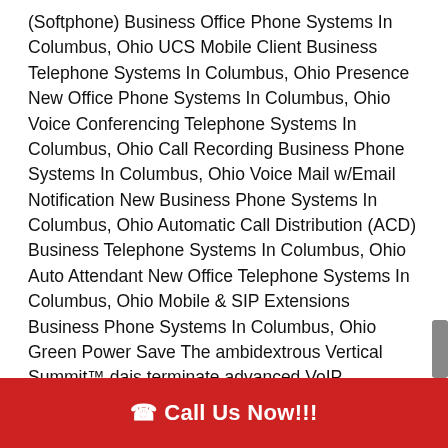(Softphone) Business Office Phone Systems In Columbus, Ohio UCS Mobile Client Business Telephone Systems In Columbus, Ohio Presence New Office Phone Systems In Columbus, Ohio Voice Conferencing Telephone Systems In Columbus, Ohio Call Recording Business Phone Systems In Columbus, Ohio Voice Mail w/Email Notification New Business Phone Systems In Columbus, Ohio Automatic Call Distribution (ACD) Business Telephone Systems In Columbus, Ohio Auto Attendant New Office Telephone Systems In Columbus, Ohio Mobile & SIP Extensions Business Phone Systems In Columbus, Ohio Green Power Save The ambidextrous Vertical Summit™ dais terminate advanced VoIP technology that maintain low cost SIP stalk, on/off-supposition mobility, abstracted connectivity and several-situation networking to give your trivial vocation
📞 Call Us Now!!!